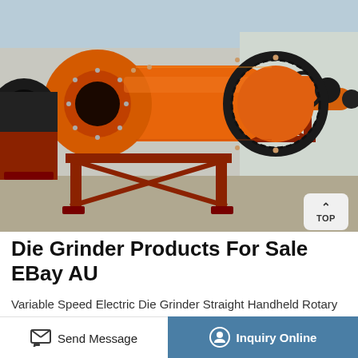[Figure (photo): Industrial ball mills / grinding machines in orange color lined up outdoors at a factory/yard. Large cylindrical rotating drum mills with gear rings, mounted on red steel frames, in a row.]
Die Grinder Products For Sale EBay AU
Variable Speed Electric Die Grinder Straight Handheld Rotary Grinding Machine AU. AU $56.99. Free postage. 6X Tungsten Steel Carbide Burrs For